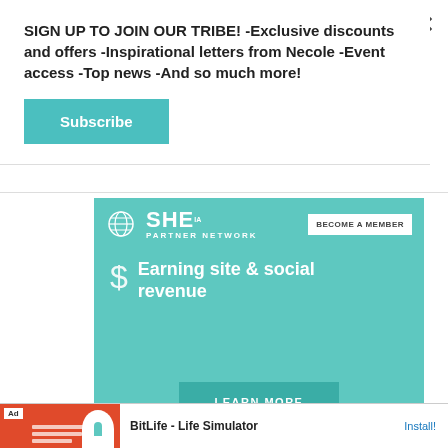SIGN UP TO JOIN OUR TRIBE! -Exclusive discounts and offers -Inspirational letters from Necole -Event access -Top news -And so much more!
Subscribe
[Figure (screenshot): SHE Partner Network advertisement banner with teal background. Shows globe icon with SHE logo, 'BECOME A MEMBER' button, dollar sign icon, text 'Earning site & social revenue', and a 'LEARN MORE' button.]
[Figure (screenshot): BitLife - Life Simulator app advertisement bar at bottom showing red background with app icon and Install button.]